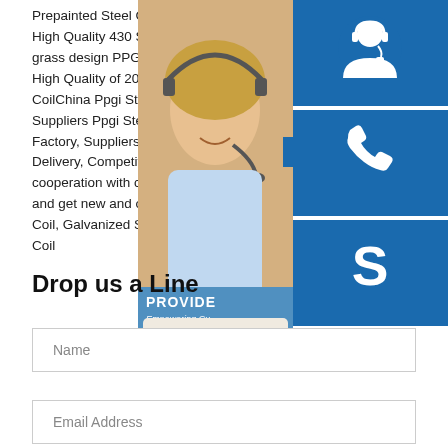Prepainted Steel CoilChina Manufacturer Supply High Quality 430 Stainless Steel CoilsChinese grass design PPGI galvanized steel coilSuper High Quality of 201 304 310S Stainless Steel CoilChina Ppgi Steel Coil Manufacturer Factory, Suppliers Ppgi Steel Coil - China Manufacturer, Factory, Suppliers. Persisting in "High quality Delivery, Competitive Price", we have established cooperation with clients from both overseas and get new and old clients' high comments for Coil, Galvanized Steel Sheet In Coil, Mild Ca... Coil
[Figure (photo): Customer support representative: woman with headset smiling, with 24/7 badge, chat icon, phone icon, Skype icon, PROVIDE Empowering Customers bar, and online live button]
Drop us a Line
Name
Email Address